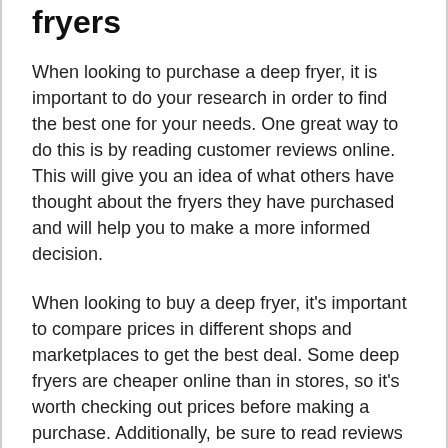fryers
When looking to purchase a deep fryer, it is important to do your research in order to find the best one for your needs. One great way to do this is by reading customer reviews online. This will give you an idea of what others have thought about the fryers they have purchased and will help you to make a more informed decision.
When looking to buy a deep fryer, it's important to compare prices in different shops and marketplaces to get the best deal. Some deep fryers are cheaper online than in stores, so it's worth checking out prices before making a purchase. Additionally, be sure to read reviews of different deep fryers to get an idea of which one is the best fit for your needs.
When you are buying an appliance like a deep